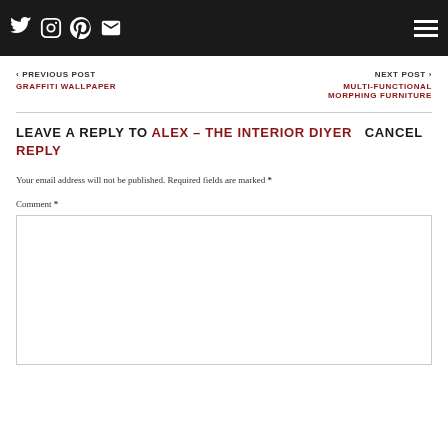Social icons: Twitter, Instagram, Pinterest, Email; Hamburger menu
< PREVIOUS POST
GRAFFITI WALLPAPER
NEXT POST >
MULTI-FUNCTIONAL MORPHING FURNITURE
LEAVE A REPLY TO ALEX – THE INTERIOR DIYER CANCEL REPLY
Your email address will not be published. Required fields are marked *
Comment *